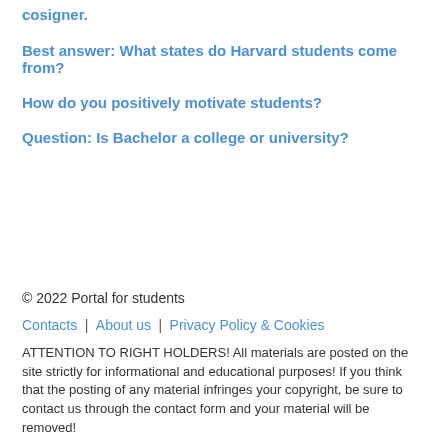cosigner.
Best answer: What states do Harvard students come from?
How do you positively motivate students?
Question: Is Bachelor a college or university?
© 2022 Portal for students
Contacts | About us | Privacy Policy & Cookies
ATTENTION TO RIGHT HOLDERS! All materials are posted on the site strictly for informational and educational purposes! If you think that the posting of any material infringes your copyright, be sure to contact us through the contact form and your material will be removed!